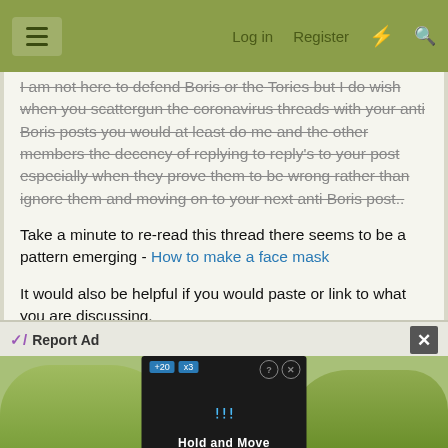Log in  Register
I am not here to defend Boris or the Tories but I do wish when you scattergun the coronavirus threads with your anti Boris posts you would at least do me and the other members the decency of replying to reply's to your post especially when they prove them to be wrong rather than ignore them and moving on to your next anti Boris post..
Take a minute to re-read this thread there seems to be a pattern emerging - How to make a face mask
It would also be helpful if you would paste or link to what you are discussing.
Last edited: May 6, 2020
[Figure (screenshot): Advertisement banner showing 'Report Ad' label with close button, and an image of trees with a dark center panel showing 'Hold and Move' text with person icons]